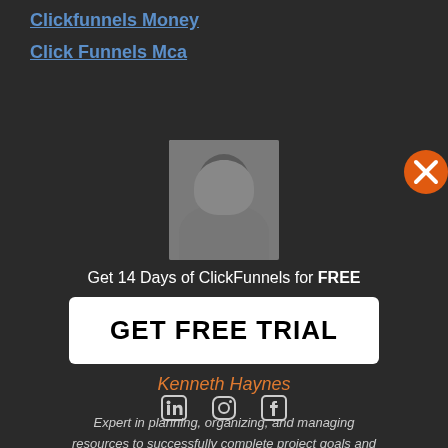Clickfunnels Money
Click Funnels Mca
Get 14 Days of ClickFunnels for FREE
[Figure (photo): Portrait photo of a man (Kenneth Haynes)]
GET FREE TRIAL
Kenneth Haynes
Expert in planning, organizing, and managing resources to successfully complete project goals and objectives, while honoring predetermined constraints in sales funnels.
[Figure (infographic): Social media icons: LinkedIn, Instagram, Facebook]
[Figure (other): Orange close/X button in top right corner]